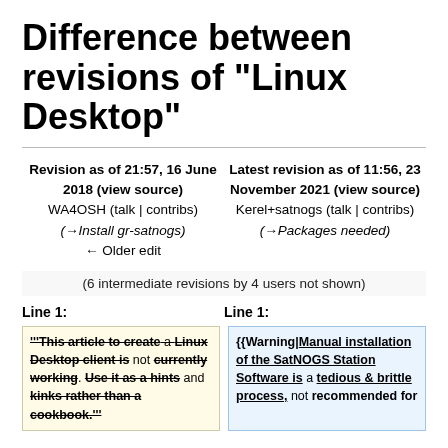Difference between revisions of "Linux Desktop"
Revision as of 21:57, 16 June 2018 (view source)
WA4OSH (talk | contribs)
(→Install gr-satnogs)
← Older edit
Latest revision as of 11:56, 23 November 2021 (view source)
Kerel+satnogs (talk | contribs)
(→Packages needed)
(6 intermediate revisions by 4 users not shown)
Line 1:
Line 1:
'''This article to create a Linux Desktop client is not currently working. Use it as a hints and kinks rather than a cookbook.'''
{{Warning|Manual installation of the SatNOGS Station Software is a tedious & brittle process, not recommended for